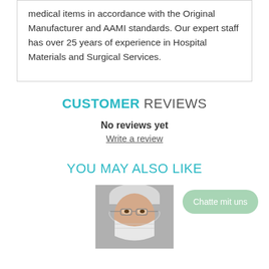medical items in accordance with the Original Manufacturer and AAMI standards. Our expert staff has over 25 years of experience in Hospital Materials and Surgical Services.
CUSTOMER REVIEWS
No reviews yet
Write a review
YOU MAY ALSO LIKE
[Figure (photo): Photo of a person wearing a surgical mask and eye protection/glasses, with a hair covering.]
Chatte mit uns